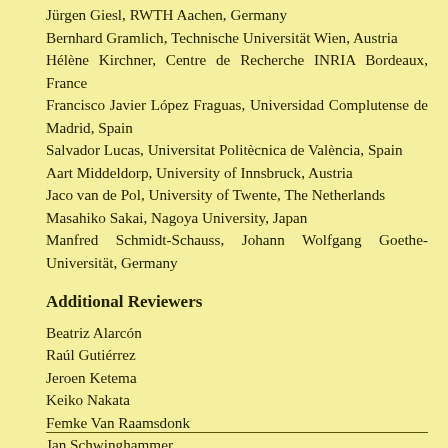Jürgen Giesl, RWTH Aachen, Germany
Bernhard Gramlich, Technische Universität Wien, Austria
Hélène Kirchner, Centre de Recherche INRIA Bordeaux, France
Francisco Javier López Fraguas, Universidad Complutense de Madrid, Spain
Salvador Lucas, Universitat Politècnica de València, Spain
Aart Middeldorp, University of Innsbruck, Austria
Jaco van de Pol, University of Twente, The Netherlands
Masahiko Sakai, Nagoya University, Japan
Manfred Schmidt-Schauss, Johann Wolfgang Goethe-Universität, Germany
Additional Reviewers
Beatriz Alarcón
Raúl Gutiérrez
Jeroen Ketema
Keiko Nakata
Femke Van Raamsdonk
Jan Schwinghammer
Wouter Swierstra